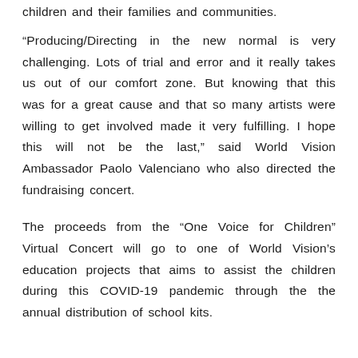children and their families and communities.
“Producing/Directing in the new normal is very challenging. Lots of trial and error and it really takes us out of our comfort zone. But knowing that this was for a great cause and that so many artists were willing to get involved made it very fulfilling. I hope this will not be the last,” said World Vision Ambassador Paolo Valenciano who also directed the fundraising concert.
The proceeds from the “One Voice for Children” Virtual Concert will go to one of World Vision’s education projects that aims to assist the children during this COVID-19 pandemic through the the annual distribution of school kits.